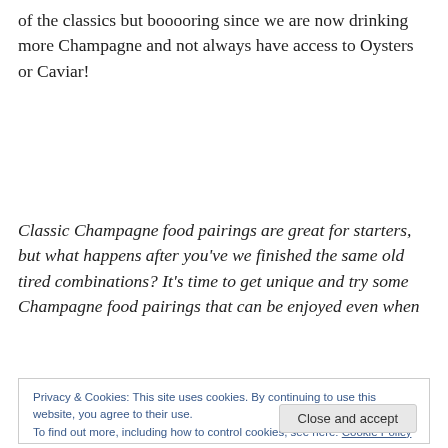of the classics but booooring since we are now drinking more Champagne and not always have access to Oysters or Caviar!
Classic Champagne food pairings are great for starters, but what happens after you've we finished the same old tired combinations? It's time to get unique and try some Champagne food pairings that can be enjoyed even when
Privacy & Cookies: This site uses cookies. By continuing to use this website, you agree to their use.
To find out more, including how to control cookies, see here: Cookie Policy